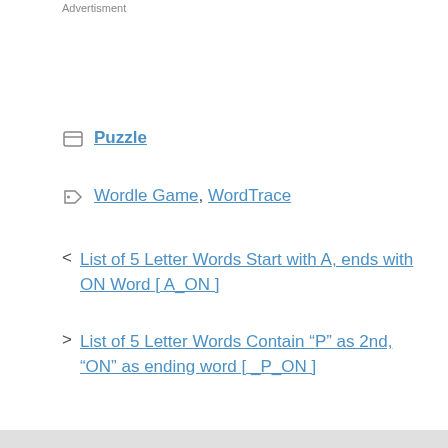Advertisment
Puzzle
Wordle Game, WordTrace
List of 5 Letter Words Start with A, ends with ON Word [ A_ON ]
List of 5 Letter Words Contain “P” as 2nd, “ON” as ending word [ _P_ON ]
Leave a Comment